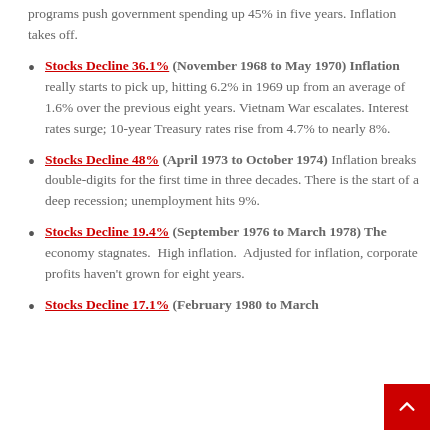programs push government spending up 45% in five years. Inflation takes off.
Stocks Decline 36.1% (November 1968 to May 1970) Inflation really starts to pick up, hitting 6.2% in 1969 up from an average of 1.6% over the previous eight years. Vietnam War escalates. Interest rates surge; 10-year Treasury rates rise from 4.7% to nearly 8%.
Stocks Decline 48% (April 1973 to October 1974) Inflation breaks double-digits for the first time in three decades. There is the start of a deep recession; unemployment hits 9%.
Stocks Decline 19.4% (September 1976 to March 1978) The economy stagnates. High inflation. Adjusted for inflation, corporate profits haven't grown for eight years.
Stocks Decline 17.1% (February 1980 to March